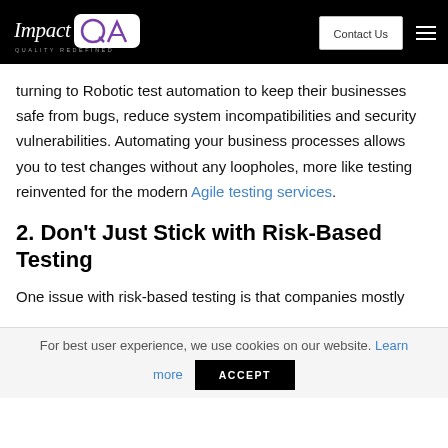Impact QA - Quality Redefined | Contact Us
turning to Robotic test automation to keep their businesses safe from bugs, reduce system incompatibilities and security vulnerabilities. Automating your business processes allows you to test changes without any loopholes, more like testing reinvented for the modern Agile testing services.
2. Don't Just Stick with Risk-Based Testing
One issue with risk-based testing is that companies mostly
For best user experience, we use cookies on our website. Learn more
ACCEPT